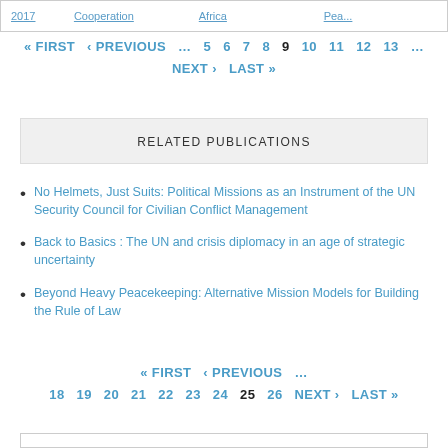| 2017 | Cooperation | Africa | Pea... |
| --- | --- | --- | --- |
« FIRST ‹ PREVIOUS … 5 6 7 8 9 10 11 12 13 … NEXT › LAST »
RELATED PUBLICATIONS
No Helmets, Just Suits: Political Missions as an Instrument of the UN Security Council for Civilian Conflict Management
Back to Basics : The UN and crisis diplomacy in an age of strategic uncertainty
Beyond Heavy Peacekeeping: Alternative Mission Models for Building the Rule of Law
« FIRST ‹ PREVIOUS … 18 19 20 21 22 23 24 25 26 NEXT › LAST »